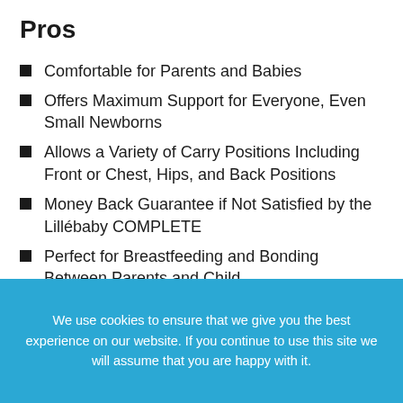Pros
Comfortable for Parents and Babies
Offers Maximum Support for Everyone, Even Small Newborns
Allows a Variety of Carry Positions Including Front or Chest, Hips, and Back Positions
Money Back Guarantee if Not Satisfied by the Lillébaby COMPLETE
Perfect for Breastfeeding and Bonding Between Parents and Child
Allows Parents to Keep Up by Going Hands Free
We use cookies to ensure that we give you the best experience on our website. If you continue to use this site we will assume that you are happy with it.